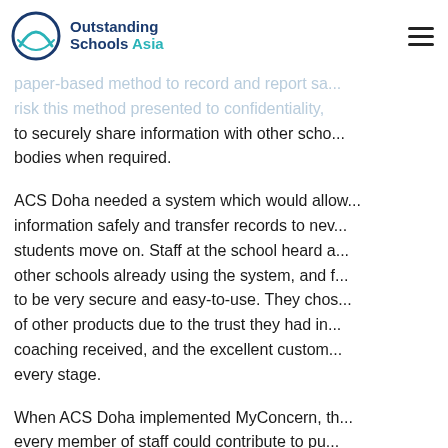Outstanding Schools Asia
paper-based method to record and report sa... risk this method presented to confidentiality, to securely share information with other schools and bodies when required.
ACS Doha needed a system which would allow information safely and transfer records to new students move on. Staff at the school heard about other schools already using the system, and found it to be very secure and easy-to-use. They chose it over other products due to the trust they had in coaching received, and the excellent customer support at every stage.
When ACS Doha implemented MyConcern, every member of staff could contribute to pupil wellbeing easily and securely, and were impressed...